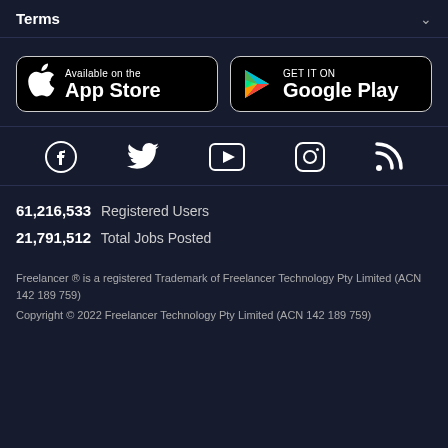Terms
[Figure (logo): App Store and Google Play download buttons side by side]
[Figure (infographic): Social media icons row: Facebook, Twitter, YouTube, Instagram, RSS]
61,216,533  Registered Users
21,791,512  Total Jobs Posted
Freelancer ® is a registered Trademark of Freelancer Technology Pty Limited (ACN 142 189 759)
Copyright © 2022 Freelancer Technology Pty Limited (ACN 142 189 759)